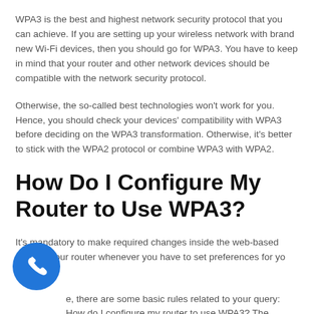WPA3 is the best and highest network security protocol that you can achieve. If you are setting up your wireless network with brand new Wi-Fi devices, then you should go for WPA3. You have to keep in mind that your router and other network devices should be compatible with the network security protocol.
Otherwise, the so-called best technologies won't work for you. Hence, you should check your devices' compatibility with WPA3 before deciding on the WPA3 transformation. Otherwise, it's better to stick with the WPA2 protocol or combine WPA3 with WPA2.
How Do I Configure My Router to Use WPA3?
It's mandatory to make required changes inside the web-based utility of your router whenever you have to set preferences for your router.
e, there are some basic rules related to your query: How do I configure my router to use WPA3? The general guidelines